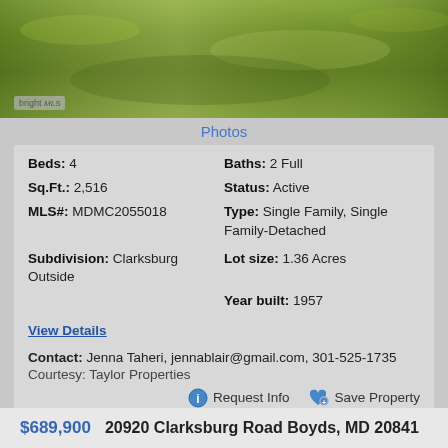[Figure (photo): Aerial or ground photo of green grass/lawn area with bright MLS watermark in lower left]
Photos
Beds: 4   Baths: 2 Full
Sq.Ft.: 2,516   Status: Active
MLS#: MDMC2055018   Type: Single Family, Single Family-Detached
Subdivision: Clarksburg Outside   Lot size: 1.36 Acres
Year built: 1957
View Details
Contact: Jenna Taheri, jennablair@gmail.com, 301-525-1735
Courtesy: Taylor Properties
Request Info   Save Property
View additional info
$689,900   20920 Clarksburg Road Boyds, MD 20841